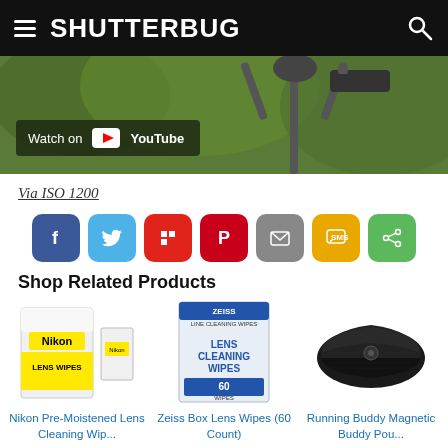SHUTTERBUG
[Figure (screenshot): Video thumbnail showing camera on tripod outdoors with 'Watch on YouTube' overlay button]
Via ISO 1200
[Figure (infographic): Social sharing buttons: Facebook, Twitter, Flipboard, Pinterest, Email, SMS, Share]
Shop Related Products
[Figure (photo): Nikon Pre-Moistened Lens Cleaning Wipes product box]
Nikon Pre-Moistened Lens Cleaning Wip...
[Figure (photo): Zeiss Box Lens Wipes (60 Count) product box]
Zeiss Box Lens Wipes (60 Count)
[Figure (photo): Running Buddy Magnetic Buddy Pouch black product]
Running Buddy Magnetic Buddy Pou...